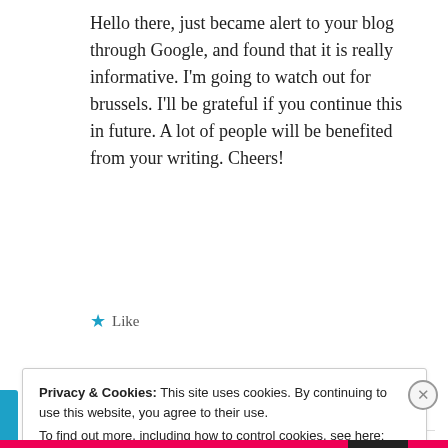Hello there, just became alert to your blog through Google, and found that it is really informative. I'm going to watch out for brussels. I'll be grateful if you continue this in future. A lot of people will be benefited from your writing. Cheers!
★ Like
LOG IN TO REPLY
Privacy & Cookies: This site uses cookies. By continuing to use this website, you agree to their use. To find out more, including how to control cookies, see here: Cookie Policy
Close and accept